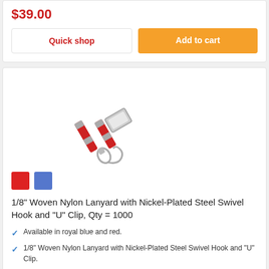$39.00
Quick shop
Add to cart
[Figure (photo): Red woven nylon lanyard with nickel-plated steel swivel hook and U clip]
Color swatches: red and blue
1/8" Woven Nylon Lanyard with Nickel-Plated Steel Swivel Hook and "U" Clip, Qty = 1000
Available in royal blue and red.
1/8" Woven Nylon Lanyard with Nickel-Plated Steel Swivel Hook and "U" Clip.
36" (914 MM) length.
$580.00